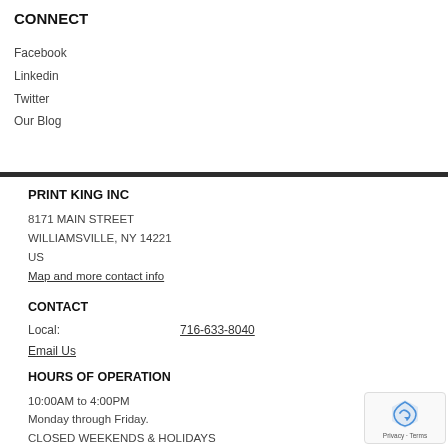CONNECT
Facebook
Linkedin
Twitter
Our Blog
PRINT KING INC
8171 MAIN STREET
WILLIAMSVILLE, NY 14221
US
Map and more contact info
CONTACT
Local:    716-633-8040
Email Us
HOURS OF OPERATION
10:00AM to 4:00PM
Monday through Friday.
CLOSED WEEKENDS & HOLIDAYS